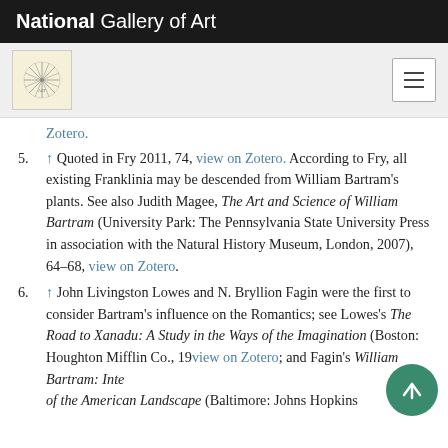National Gallery of Art
Zotero.
5. ↑ Quoted in Fry 2011, 74, view on Zotero. According to Fry, all existing Franklinia may be descended from William Bartram's plants. See also Judith Magee, The Art and Science of William Bartram (University Park: The Pennsylvania State University Press in association with the Natural History Museum, London, 2007), 64–68, view on Zotero.
6. ↑ John Livingston Lowes and N. Bryllion Fagin were the first to consider Bartram's influence on the Romantics; see Lowes's The Road to Xanadu: A Study in the Ways of the Imagination (Boston: Houghton Mifflin Co., 19[27]), view on Zotero; and Fagin's William Bartram: Inte[rpreter] of the American Landscape (Baltimore: Johns Hopkins